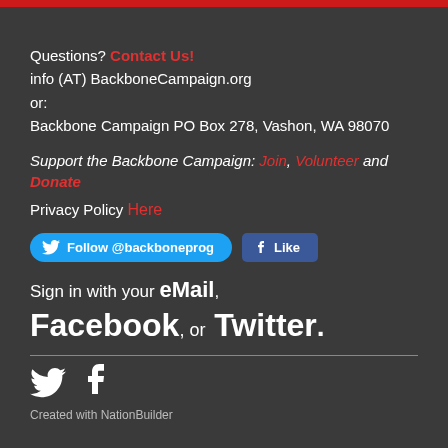Questions? Contact Us!
info (AT) BackboneCampaign.org
or:
Backbone Campaign PO Box 278, Vashon, WA 98070
Support the Backbone Campaign: Join, Volunteer and Donate
Privacy Policy Here
[Figure (other): Twitter Follow @backboneprog button and Facebook Like button]
Sign in with your eMail, Facebook, or Twitter.
[Figure (other): Twitter bird icon and Facebook F icon in footer]
Created with NationBuilder